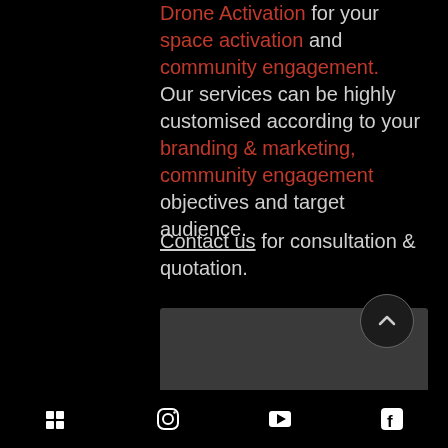Drone Activation for your space activation and community engagement. Our services can be highly customised according to your branding & marketing, community engagement objectives and target audience.
Contact us for consultation & quotation.
[Figure (other): Dark grey rectangular image/video area with a scroll-to-top button (upward chevron in a circle) overlaid at the top right corner]
Social media icons: list/menu, Instagram, YouTube/play, Facebook